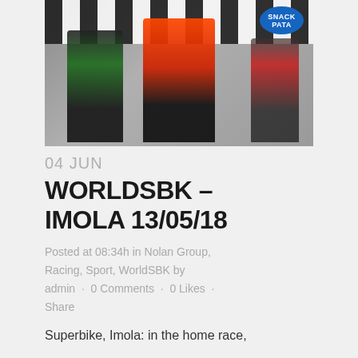[Figure (photo): Racing podium photo showing three riders in racing suits on a podium. Center rider in orange and black Ducati/aruba.it suit waving, left rider in Kawasaki green suit, right rider partially visible. Checkered backdrop and PATA Snack sponsor banner visible.]
04 JUN
WORLDSBK – IMOLA 13/05/18
Posted at 08:34h in Nolan Group, Racing, Sport, WorldSBK by admin · 0 Comments · 0 Likes · Share
Superbike, Imola: in the home race,